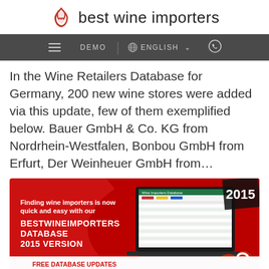best wine importers
In the Wine Retailers Database for Germany, 200 new wine stores were added via this update, few of them exemplified below. Bauer GmbH & Co. KG from Nordrhein-Westfalen, Bonbou GmbH from Erfurt, Der Weinheuer GmbH from...
[Figure (screenshot): Promotional banner for Best Wine Importers Database 2015 Version. Red background with laptop screenshot showing Wine Importers Database spreadsheet. Text: 'Finding wine importers is now quick and easy with our BESTWINEIMPORTERS DATABASE 2015 VERSION'. Bottom text: 'FREE DATABASE UPDATES FOR THE ENTIRE YEAR!']
New Wine Importers & Wine Retailers...